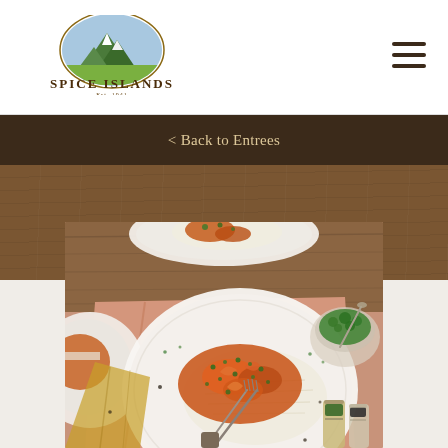[Figure (logo): Spice Islands logo with mountain illustration and Est. 1941 tagline]
[Figure (other): Hamburger menu icon (three horizontal dark lines)]
< Back to Entrees
[Figure (photo): Overhead food photography showing shrimp dishes served over white rice in white plates, garnished with fresh herbs, on a pink linen with wooden surface. Spice Islands spice jars visible in corner. Fork in foreground bowl.]